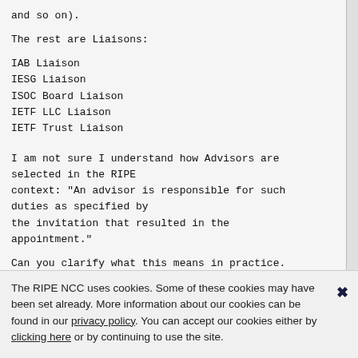and so on).
The rest are Liaisons:
IAB Liaison
IESG Liaison
ISOC Board Liaison
IETF LLC Liaison
IETF Trust Liaison
I am not sure I understand how Advisors are selected in the RIPE context: "An advisor is responsible for such duties as specified by the invitation that resulted in the appointment."
Can you clarify what this means in practice.
The RIPE NCC uses cookies. Some of these cookies may have been set already. More information about our cookies can be found in our privacy policy. You can accept our cookies either by clicking here or by continuing to use the site.